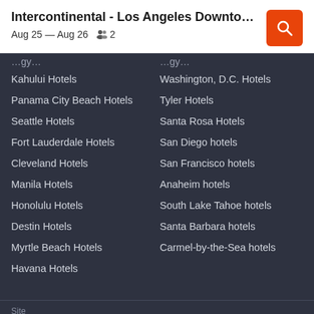Intercontinental - Los Angeles Downtown, A...
Aug 25 — Aug 26  👥 2
Kahului Hotels
Washington, D.C. Hotels
Panama City Beach Hotels
Tyler Hotels
Seattle Hotels
Santa Rosa Hotels
Fort Lauderdale Hotels
San Diego hotels
Cleveland Hotels
San Francisco hotels
Manila Hotels
Anaheim hotels
Honolulu Hotels
South Lake Tahoe hotels
Destin Hotels
Santa Barbara hotels
Myrtle Beach Hotels
Carmel-by-the-Sea hotels
Havana Hotels
Site
UNITED STATES